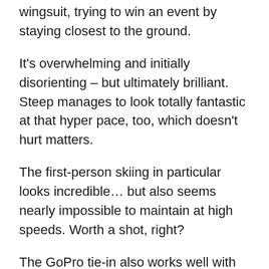wingsuit, trying to win an event by staying closest to the ground.
It's overwhelming and initially disorienting – but ultimately brilliant. Steep manages to look totally fantastic at that hyper pace, too, which doesn't hurt matters.
The first-person skiing in particular looks incredible… but also seems nearly impossible to maintain at high speeds. Worth a shot, right?
The GoPro tie-in also works well with the game's extensive replay editing engine, which lets you